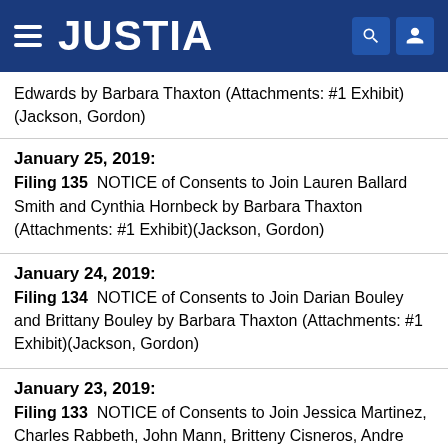JUSTIA
Edwards by Barbara Thaxton (Attachments: #1 Exhibit)(Jackson, Gordon)
January 25, 2019: Filing 135 NOTICE of Consents to Join Lauren Ballard Smith and Cynthia Hornbeck by Barbara Thaxton (Attachments: #1 Exhibit)(Jackson, Gordon)
January 24, 2019: Filing 134 NOTICE of Consents to Join Darian Bouley and Brittany Bouley by Barbara Thaxton (Attachments: #1 Exhibit)(Jackson, Gordon)
January 23, 2019: Filing 133 NOTICE of Consents to Join Jessica Martinez, Charles Rabbeth, John Mann, Britteny Cisneros, Andre Rodrigues, Verikida Gibbs, Nancy Drolson, Tyler Clark, Joseph Jarvis, Heather Al Hinki